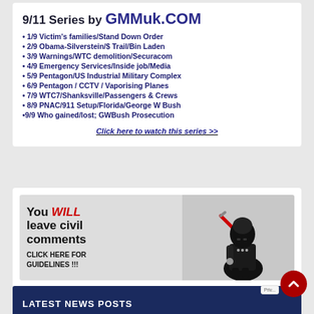9/11 Series by GMMuk.COM
1/9 Victim's families/Stand Down Order
2/9 Obama-Silverstein/$ Trail/Bin Laden
3/9 Warnings/WTC demolition/Securacom
4/9 Emergency Services/Inside job/Media
5/9 Pentagon/US Industrial Military Complex
6/9 Pentagon / CCTV / Vaporising Planes
7/9 WTC7/Shanksville/Passengers & Crews
8/9 PNAC/911 Setup/Florida/George W Bush
9/9 Who gained/lost; GWBush Prosecution
Click here to watch this series >>
[Figure (illustration): Banner image showing text 'You WILL leave civil comments - CLICK HERE FOR GUIDELINES !!!' with a Darth Vader LEGO figure holding a red lightsaber on a grey background.]
LATEST NEWS POSTS